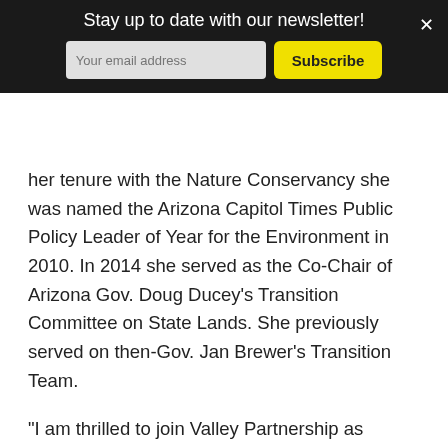Stay up to date with our newsletter!
her tenure with the Nature Conservancy she was named the Arizona Capitol Times Public Policy Leader of Year for the Environment in 2010. In 2014 she served as the Co-Chair of Arizona Gov. Doug Ducey’s Transition Committee on State Lands. She previously served on then-Gov. Jan Brewer’s Transition Team.
“I am thrilled to join Valley Partnership as President and CEO,” Ms. Lombard said. “In this role, I’ll be returning to my development roots, while also being able to utilize my expertise in navigating complex environmental and political